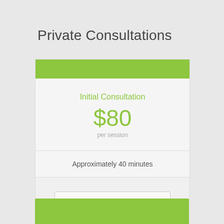Private Consultations
| Initial Consultation |
| $80 |
| per session |
| Approximately 40 minutes |
| Book a consultation |
[Figure (other): Second card header (green bar) partially visible at bottom of page]